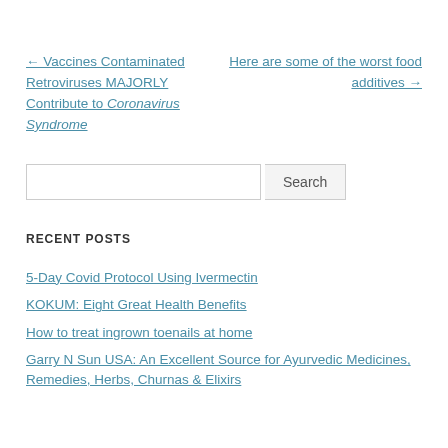← Vaccines Contaminated Retroviruses MAJORLY Contribute to Coronavirus Syndrome
Here are some of the worst food additives →
Search
RECENT POSTS
5-Day Covid Protocol Using Ivermectin
KOKUM: Eight Great Health Benefits
How to treat ingrown toenails at home
Garry N Sun USA: An Excellent Source for Ayurvedic Medicines, Remedies, Herbs, Churnas & Elixirs